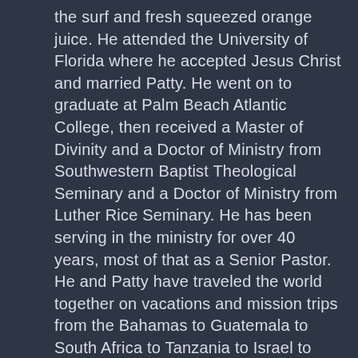the surf and fresh squeezed orange juice. He attended the University of Florida where he accepted Jesus Christ and married Patty. He went on to graduate at Palm Beach Atlantic College, then received a Master of Divinity and a Doctor of Ministry from Southwestern Baptist Theological Seminary and a Doctor of Ministry from Luther Rice Seminary. He has been serving in the ministry for over 40 years, most of that as a Senior Pastor. He and Patty have traveled the world together on vacations and mission trips from the Bahamas to Guatemala to South Africa to Tanzania to Israel to France to Italy to England and about a dozen more countries. They have flown in hot air balloons, fixed wing gliders, the Bud One Airship, and all kinds of airplanes. He says, "I would rather spend time with her than anyone else in the world." They have a daughter, Courtney, who lives with her husband and three boys in the Tampa...